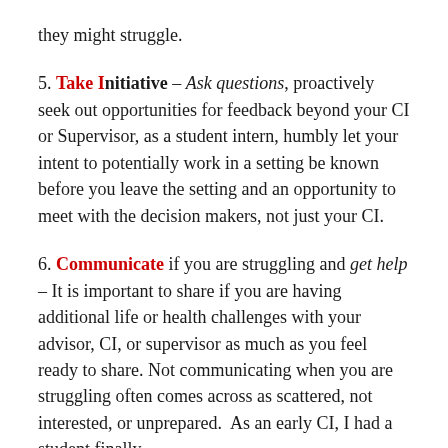they might struggle.
5. Take Initiative – Ask questions, proactively seek out opportunities for feedback beyond your CI or Supervisor, as a student intern, humbly let your intent to potentially work in a setting be known before you leave the setting and an opportunity to meet with the decision makers, not just your CI.
6. Communicate if you are struggling and get help – It is important to share if you are having additional life or health challenges with your advisor, CI, or supervisor as much as you feel ready to share. Not communicating when you are struggling often comes across as scattered, not interested, or unprepared. As an early CI, I had a student finally